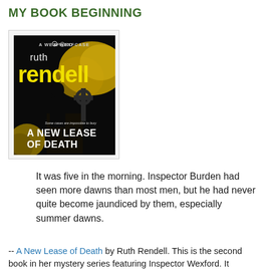MY BOOK BEGINNING
[Figure (photo): Book cover of 'A New Lease of Death' by Ruth Rendell — A Wexford Case. Dark cover with silhouette of a person, a Celtic cross, golden trees, and text reading 'Some cases are impossible to bury' above the title 'A NEW LEASE OF DEATH'.]
It was five in the morning. Inspector Burden had seen more dawns than most men, but he had never quite become jaundiced by them, especially summer dawns.
-- A New Lease of Death by Ruth Rendell. This is the second book in her mystery series featuring Inspector Wexford. It